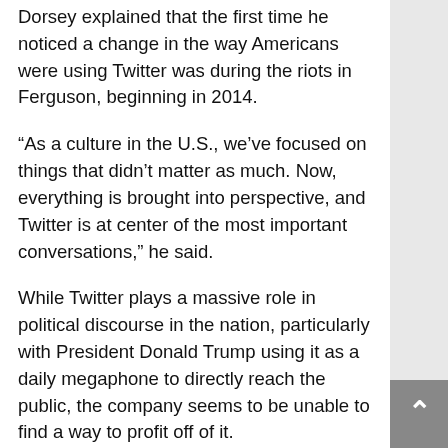Dorsey explained that the first time he noticed a change in the way Americans were using Twitter was during the riots in Ferguson, beginning in 2014.
“As a culture in the U.S., we’ve focused on things that didn’t matter as much. Now, everything is brought into perspective, and Twitter is at center of the most important conversations,” he said.
While Twitter plays a massive role in political discourse in the nation, particularly with President Donald Trump using it as a daily megaphone to directly reach the public, the company seems to be unable to find a way to profit off of it.
“Last week, Twitter posted the slowest revenue growth since it went public four years ago, sending shares down more than 10 percent on fears that rivals Snapchat and Facebook were winning the war for advertising,” The Daily Mail reports. “Revenue from…